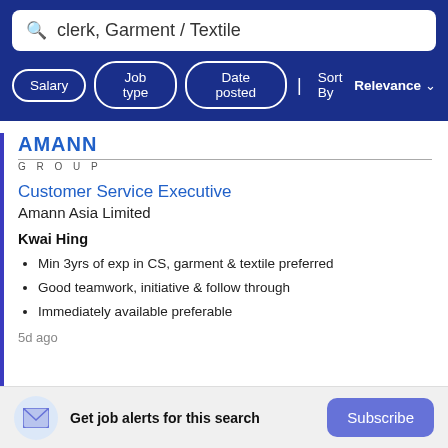clerk, Garment / Textile
Salary  Job type  Date posted  | Sort By Relevance
[Figure (logo): AMANN GROUP company logo in blue letters]
Customer Service Executive
Amann Asia Limited
Kwai Hing
Min 3yrs of exp in CS, garment & textile preferred
Good teamwork, initiative & follow through
Immediately available preferable
5d ago
Get job alerts for this search
Subscribe